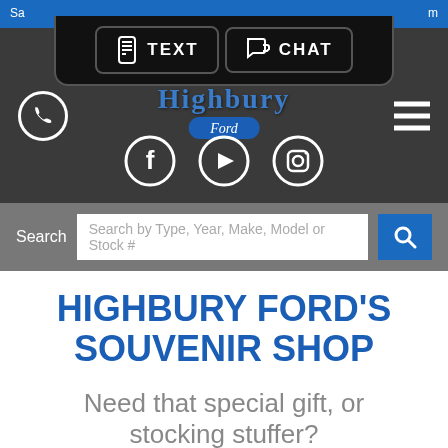[Figure (screenshot): Website header for Highbury Ford dealership showing TEXT and CHAT popup buttons, the Highbury Ford logo, phone icon, hamburger menu, social media icons (Facebook, YouTube, Instagram), a search bar with placeholder text, the title 'HIGHBURY FORD'S SOUVENIR SHOP', and subtitle text 'Need that special gift, or stocking stuffer?']
HIGHBURY FORD'S SOUVENIR SHOP
Need that special gift, or stocking stuffer?